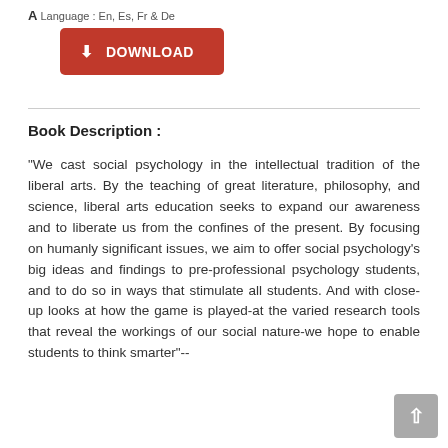Language : En, Es, Fr & De
DOWNLOAD
Book Description :
"We cast social psychology in the intellectual tradition of the liberal arts. By the teaching of great literature, philosophy, and science, liberal arts education seeks to expand our awareness and to liberate us from the confines of the present. By focusing on humanly significant issues, we aim to offer social psychology's big ideas and findings to pre-professional psychology students, and to do so in ways that stimulate all students. And with close-up looks at how the game is played-at the varied research tools that reveal the workings of our social nature-we hope to enable students to think smarter"--